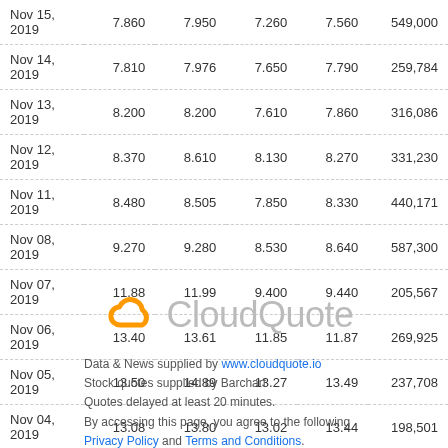| Nov 15, 2019 | 7.860 | 7.950 | 7.260 | 7.560 | 549,000 |
| Nov 14, 2019 | 7.810 | 7.976 | 7.650 | 7.790 | 259,784 |
| Nov 13, 2019 | 8.200 | 8.200 | 7.610 | 7.860 | 316,086 |
| Nov 12, 2019 | 8.370 | 8.610 | 8.130 | 8.270 | 331,230 |
| Nov 11, 2019 | 8.480 | 8.505 | 7.850 | 8.330 | 440,171 |
| Nov 08, 2019 | 9.270 | 9.280 | 8.530 | 8.640 | 587,300 |
| Nov 07, 2019 | 11.88 | 11.99 | 9.400 | 9.440 | 205,567 |
| Nov 06, 2019 | 13.40 | 13.61 | 11.85 | 11.87 | 269,925 |
| Nov 05, 2019 | 13.50 | 14.89 | 13.27 | 13.49 | 237,708 |
| Nov 04, 2019 | 13.08 | 13.80 | 13.02 | 13.44 | 198,501 |
[Figure (logo): CloudQuote logo with orange cloud icon and gray CloudQuote text]
Data & News supplied by www.cloudquote.io
Stock quotes supplied by Barchart
Quotes delayed at least 20 minutes.
By accessing this page, you agree to the following
Privacy Policy and Terms and Conditions.